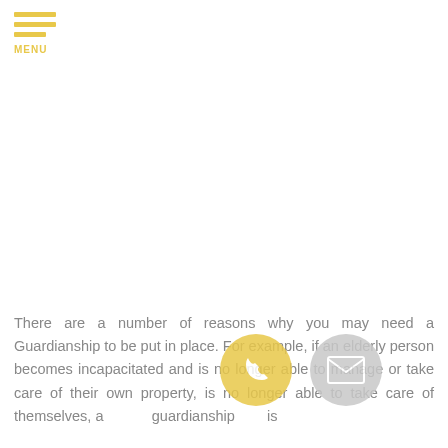MENU
There are a number of reasons why you may need a Guardianship to be put in place. For example, if an elderly person becomes incapacitated and is no longer able to manage or take care of their own property, is no longer able to take care of themselves, a guardianship is